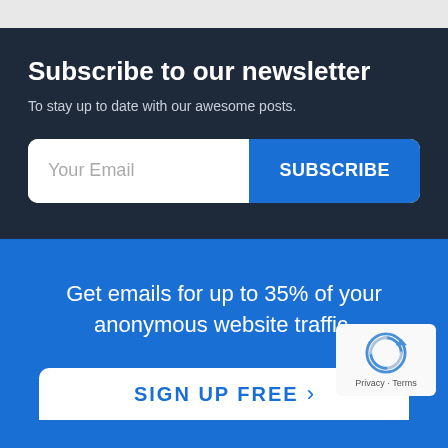Subscribe to our newsletter
To stay up to date with our awesome posts.
[Figure (screenshot): Email subscription form with 'Your Email' input field and 'SUBSCRIBE' button]
Get emails for up to 35% of your anonymous website traffic.
[Figure (logo): reCAPTCHA badge with Privacy and Terms links]
SIGN UP FREE